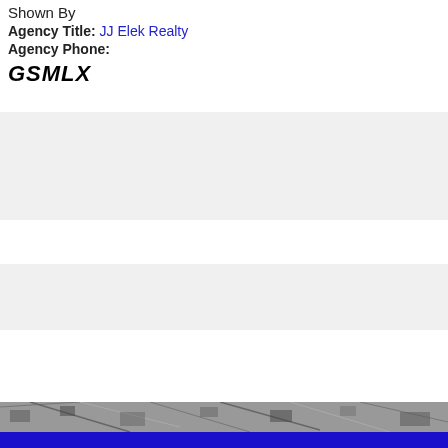Shown By
Agency Title: JJ Elek Realty
Agency Phone:
GSMLX
[Figure (photo): Grayscale aerial or landscape photo strip at bottom of page]
Blue footer bar